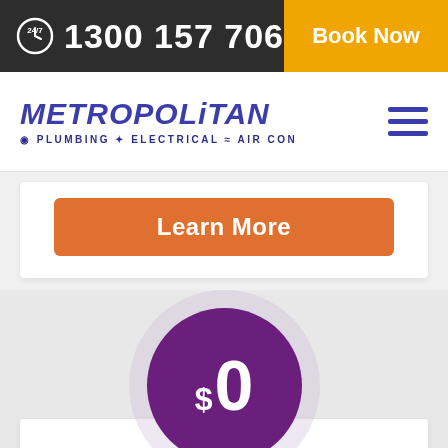24/7  1300 157 706  |  Book Now
[Figure (logo): Metropolitan Plumbing + Electrical = Air Con logo in blue/purple with italic bold text]
Learn More
[Figure (infographic): Purple circle badge showing $0 with light circular background halo]
Interest Free Options **